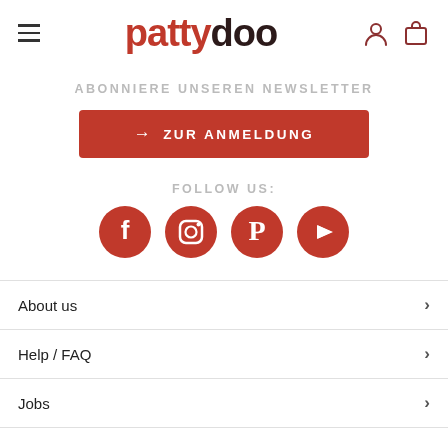[Figure (logo): Pattydoo logo with hamburger menu icon and header icons (user, bag)]
ABONNIERE UNSEREN NEWSLETTER
→ ZUR ANMELDUNG
FOLLOW US:
[Figure (infographic): Social media icons: Facebook, Instagram, Pinterest, YouTube]
About us
Help / FAQ
Jobs